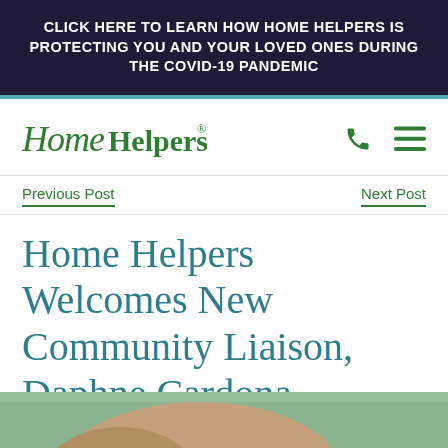CLICK HERE TO LEARN HOW HOME HELPERS IS PROTECTING YOU AND YOUR LOVED ONES DURING THE COVID-19 PANDEMIC
[Figure (logo): Home Helpers logo in green italic serif font with registered trademark symbol]
Previous Post
Next Post
Home Helpers Welcomes New Community Liaison, Daphne Cardona
[Figure (photo): Partial photo of a person outdoors, bottom of page]